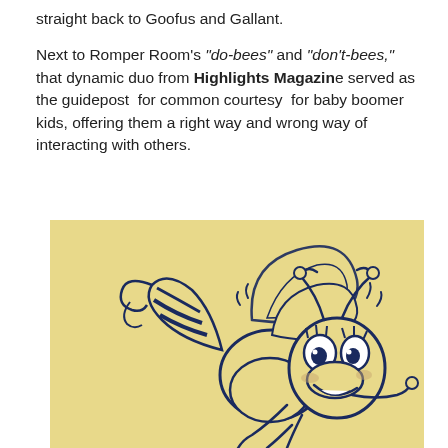straight back to Goofus and Gallant.
Next to Romper Room's "do-bees" and "don't-bees," that dynamic duo from Highlights Magazine served as the guidepost for common courtesy for baby boomer kids, offering them a right way and wrong way of interacting with others.
[Figure (illustration): A vintage cartoon illustration of a cheerful bee character (Romper Room do-bee) drawn in dark navy blue ink on a yellow/cream background. The bee has large expressive eyes with eyelashes, a wide smile, fuzzy body, striped abdomen, wings, and curling antennae. The style is playful and retro.]